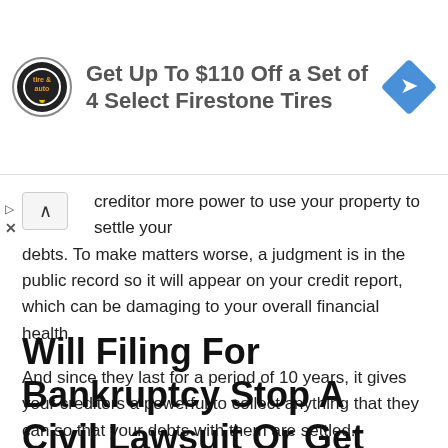[Figure (other): Advertisement banner: Firestone tire & auto logo, text 'Get Up To $110 Off a Set of 4 Select Firestone Tires', blue diamond navigation arrow icon]
creditor more power to use your property to settle your debts. To make matters worse, a judgment is in the public record so it will appear on your credit report, which can be damaging to your overall financial health.
And since they last for a period of 10 years, it gives your creditors a powerful to collect anything that they can so that your debts with them are settled.
Will Filing For Bankruptcy Stop A Civil Lawsuit Or Get Rid Of A Court Judgment